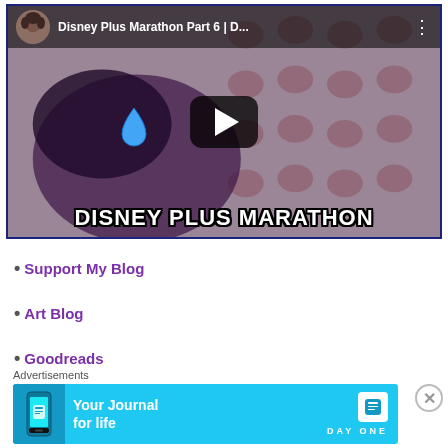[Figure (screenshot): YouTube video thumbnail for 'Disney Plus Marathon Part 6 | D...' showing a child crying with a teardrop emoji, on a red paw print background. Large text at bottom reads 'DISNEY PLUS MARATHON'. YouTube-style top bar with avatar and title visible. Play button in center.]
Support My Blog
Art Blog
Goodreads
Advertisements
[Figure (screenshot): Day One app advertisement banner on cyan background. Text: 'Your Journal for life' with Day One logo and app icon.]